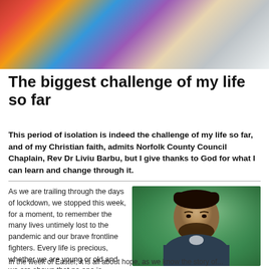[Figure (photo): Colorful blurred photo of people at top of page]
The biggest challenge of my life so far
This period of isolation is indeed the challenge of my life so far, and of my Christian faith, admits Norfolk County Council Chaplain, Rev Dr Liviu Barbu, but I give thanks to God for what I can learn and change through it.
[Figure (photo): Portrait photo of Rev Dr Liviu Barbu, a man with dark beard wearing a dark jacket, outdoors with green foliage behind]
As we are trailing through the days of lockdown, we stopped this week, for a moment, to remember the many lives untimely lost to the pandemic and our brave frontline fighters. Every life is precious, whether we are young or old and we are shown that no one is completely safe.
In the week of Easter, it is all about hope, as we know the story of...